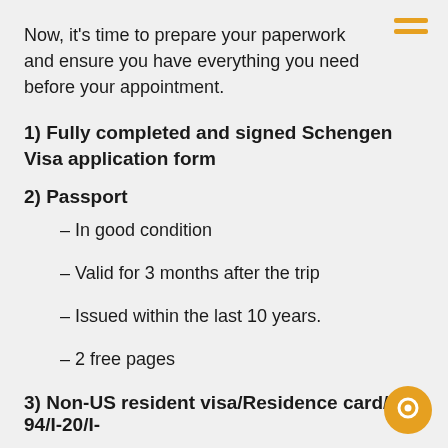Now, it's time to prepare your paperwork and ensure you have everything you need before your appointment.
1) Fully completed and signed Schengen Visa application form
2) Passport
– In good condition
– Valid for 3 months after the trip
– Issued within the last 10 years.
– 2 free pages
3) Non-US resident visa/Residence card/I-94/I-20/I-